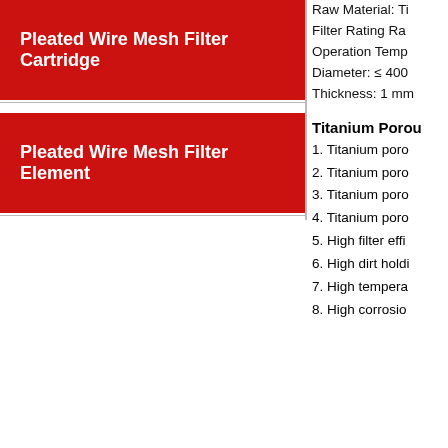Pleated Wire Mesh Filter Cartridge
Pleated Wire Mesh Filter Element
Raw Material: Ti
Filter Rating Ra
Operation Temp
Diameter: ≤ 400
Thickness: 1 mm
Titanium Porou
1. Titanium poro
2. Titanium poro
3. Titanium poro
4. Titanium poro
5. High filter effi
6. High dirt holdi
7. High tempera
8. High corrosio